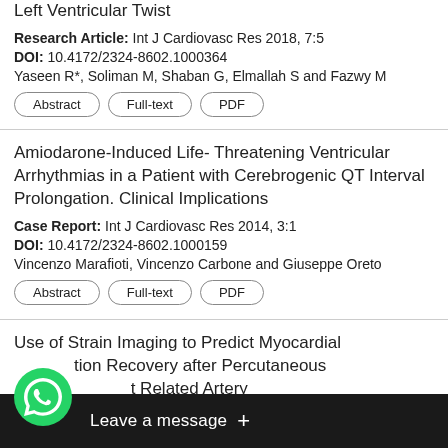Research Article: Int J Cardiovasc Res 2018, 7:5
DOI: 10.4172/2324-8602.1000364
Yaseen R*, Soliman M, Shaban G, Elmallah S and Fazwy M
Amiodarone-Induced Life- Threatening Ventricular Arrhythmias in a Patient with Cerebrogenic QT Interval Prolongation. Clinical Implications
Case Report: Int J Cardiovasc Res 2014, 3:1
DOI: 10.4172/2324-8602.1000159
Vincenzo Marafioti, Vincenzo Carbone and Giuseppe Oreto
Use of Strain Imaging to Predict Myocardial tion Recovery after Percutaneous tion of t Related Artery
Rese es 2014, 3:2
DOI: